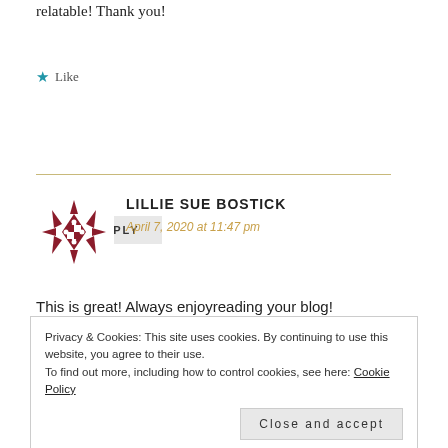relatable! Thank you!
Like
REPLY
LILLIE SUE BOSTICK
April 7, 2020 at 11:47 pm
This is great! Always enjoyreading your blog!
Privacy & Cookies: This site uses cookies. By continuing to use this website, you agree to their use. To find out more, including how to control cookies, see here: Cookie Policy
Close and accept